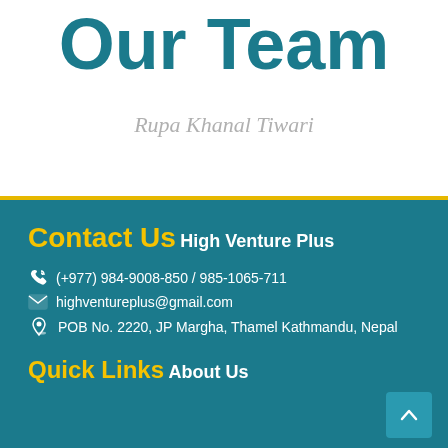Our Team
Rupa Khanal Tiwari
Contact Us
High Venture Plus
(+977) 984-9008-850 / 985-1065-711
highventureplus@gmail.com
POB No. 2220, JP Margha, Thamel Kathmandu, Nepal
Quick Links
About Us